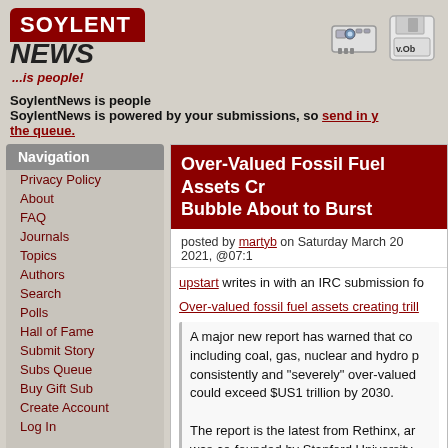[Figure (logo): SoylentNews logo with red banner and '...is people!' tagline]
[Figure (illustration): Two small icons: a network card and a floppy disk with v.0b label]
SoylentNews is people
SoylentNews is powered by your submissions, so send in your stuff or check out the queue.
Navigation
Privacy Policy
About
FAQ
Journals
Topics
Authors
Search
Polls
Hall of Fame
Submit Story
Subs Queue
Buy Gift Sub
Create Account
Log In
Over-Valued Fossil Fuel Assets Creating Bubble About to Burst
posted by martyb on Saturday March 20 2021, @07:1
upstart writes in with an IRC submission fo
Over-valued fossil fuel assets creating trill
A major new report has warned that co including coal, gas, nuclear and hydro p consistently and "severely" over-valued could exceed $US1 trillion by 2030.

The report is the latest from Rethinx, ar was co-founded by Stanford University regarded as one of few global analysts cost of solar over the last decade.